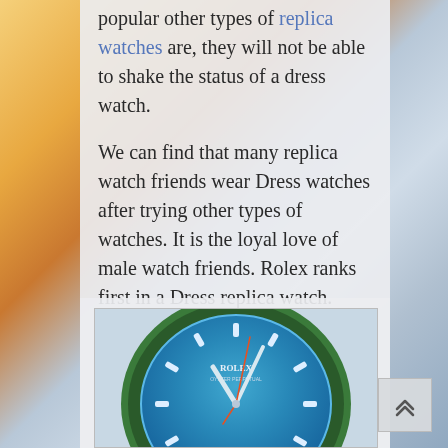popular other types of replica watches are, they will not be able to shake the status of a dress watch.
We can find that many replica watch friends wear Dress watches after trying other types of watches. It is the loyal love of male watch friends. Rolex ranks first in a Dress replica watch.
So, now I recommend a relatively good Rolex watch for everyone:
[Figure (photo): Close-up photo of a Rolex watch with a blue dial, green bezel, and orange hands, shown from a low angle.]